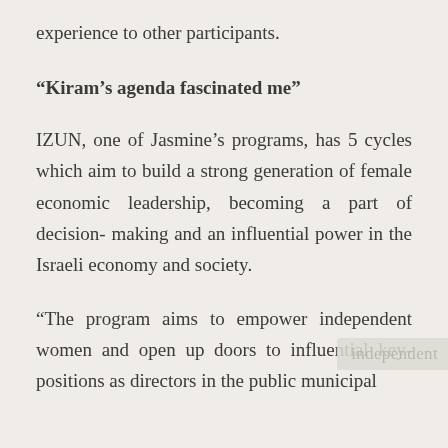experience to other participants.
“Kiram’s agenda fascinated me”
IZUN, one of Jasmine’s programs, has 5 cycles which aim to build a strong generation of female economic leadership, becoming a part of decision- making and an influential power in the Israeli economy and society.
“The program aims to empower independent women and open up doors to influential key-positions as directors in the public municipal